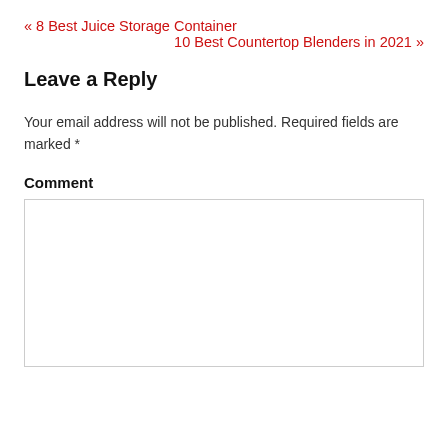« 8 Best Juice Storage Container
10 Best Countertop Blenders in 2021 »
Leave a Reply
Your email address will not be published. Required fields are marked *
Comment